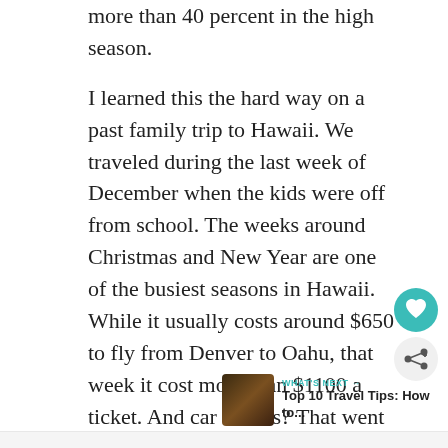more than 40 percent in the high season. I learned this the hard way on a past family trip to Hawaii. We traveled during the last week of December when the kids were off from school. The weeks around Christmas and New Year are one of the busiest seasons in Hawaii. While it usually costs around $650 to fly from Denver to Oahu, that week it cost more than $1100 a ticket. And car rentals? That went up from the average $400 a week to $850. Yikes!
[Figure (other): Teal circular heart (favorite) button and a light grey circular share button on the right sidebar]
[Figure (other): What's Next widget showing a thumbnail image and text 'Top 10 Travel Tips: How to...']